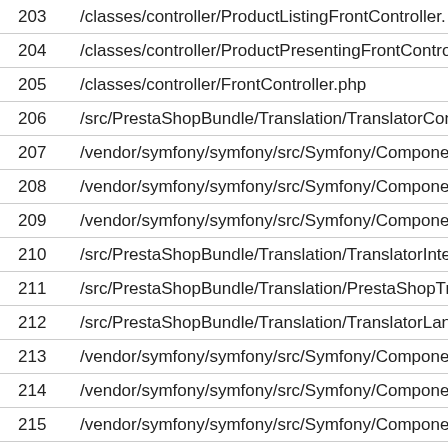| # | Path |
| --- | --- |
| 203 | /classes/controller/ProductListingFrontController. |
| 204 | /classes/controller/ProductPresentingFrontContro |
| 205 | /classes/controller/FrontController.php |
| 206 | /src/PrestaShopBundle/Translation/TranslatorCon |
| 207 | /vendor/symfony/symfony/src/Symfony/Compone |
| 208 | /vendor/symfony/symfony/src/Symfony/Compone |
| 209 | /vendor/symfony/symfony/src/Symfony/Compone |
| 210 | /src/PrestaShopBundle/Translation/TranslatorInte |
| 211 | /src/PrestaShopBundle/Translation/PrestaShopTra |
| 212 | /src/PrestaShopBundle/Translation/TranslatorLan |
| 213 | /vendor/symfony/symfony/src/Symfony/Compone |
| 214 | /vendor/symfony/symfony/src/Symfony/Compone |
| 215 | /vendor/symfony/symfony/src/Symfony/Compone |